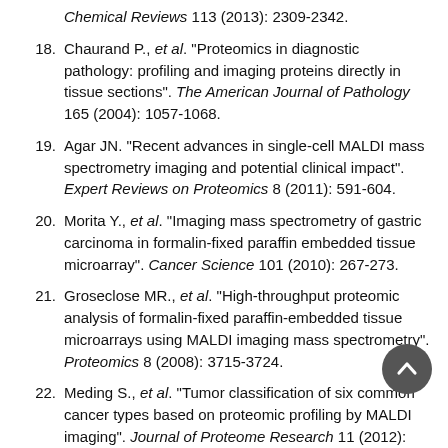Chemical Reviews 113 (2013): 2309-2342.
18. Chaurand P., et al. "Proteomics in diagnostic pathology: profiling and imaging proteins directly in tissue sections". The American Journal of Pathology 165 (2004): 1057-1068.
19. Agar JN. "Recent advances in single-cell MALDI mass spectrometry imaging and potential clinical impact". Expert Reviews on Proteomics 8 (2011): 591-604.
20. Morita Y., et al. "Imaging mass spectrometry of gastric carcinoma in formalin-fixed paraffin embedded tissue microarray". Cancer Science 101 (2010): 267-273.
21. Groseclose MR., et al. "High-throughput proteomic analysis of formalin-fixed paraffin-embedded tissue microarrays using MALDI imaging mass spectrometry". Proteomics 8 (2008): 3715-3724.
22. Meding S., et al. "Tumor classification of six common cancer types based on proteomic profiling by MALDI imaging". Journal of Proteome Research 11 (2012): 1996-2003.